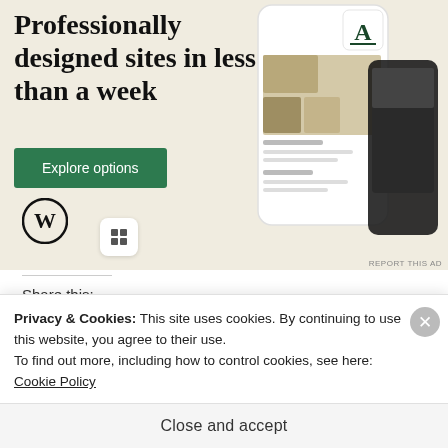[Figure (illustration): WordPress advertisement banner with beige/cream background. Large text reads 'Professionally designed sites in less than a week' with a green 'Explore options' button. WordPress logo (circle-W) at bottom left. Right side shows phone/tablet mockups with website screenshots and food images. 'REPORT THIS AD' label at bottom right.]
Share this:
[Figure (infographic): Row of social media sharing icon buttons: Twitter (blue), Facebook (dark blue), Email (gray), Skype (teal), WhatsApp (green), Print (gray), Pinterest (red), Reddit (light blue/gray), Pocket (red), LinkedIn (blue), Tumblr (dark blue)]
Privacy & Cookies: This site uses cookies. By continuing to use this website, you agree to their use.
To find out more, including how to control cookies, see here: Cookie Policy
Close and accept